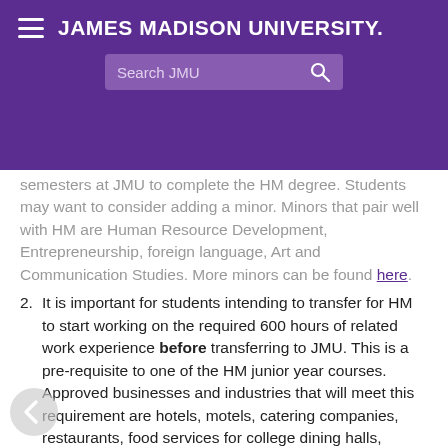JAMES MADISON UNIVERSITY.
semesters at JMU to complete the HM degree. Students may want to consider adding a minor. Minors that pair well with HM are Human Resource Development, Entrepreneurship, foreign language, Art and Communication Studies. More minors can be found here.
It is important for students intending to transfer for HM to start working on the required 600 hours of related work experience before transferring to JMU. This is a pre-requisite to one of the HM junior year courses. Approved businesses and industries that will meet this requirement are hotels, motels, catering companies, restaurants, food services for college dining halls, resorts, travel companies, airlines, cruise ship lines and event management companies. Students can provide copies of pay stubs or a memo from their supervisor